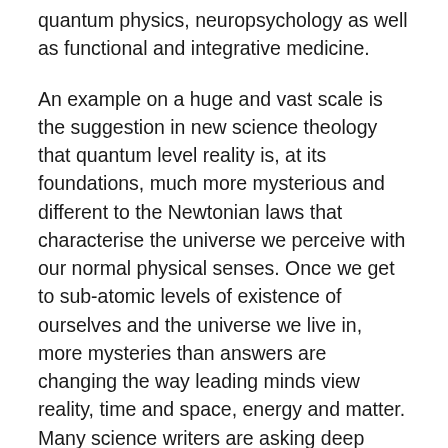quantum physics, neuropsychology as well as functional and integrative medicine.
An example on a huge and vast scale is the suggestion in new science theology that quantum level reality is, at its foundations, much more mysterious and different to the Newtonian laws that characterise the universe we perceive with our normal physical senses. Once we get to sub-atomic levels of existence of ourselves and the universe we live in, more mysteries than answers are changing the way leading minds view reality, time and space, energy and matter. Many science writers are asking deep questions about the existence of consciousness in reality as a fundamental factor like energy or matter.
Deepak Chopra in his 2017 book “You are the Universe” encapsulates much discussion in a